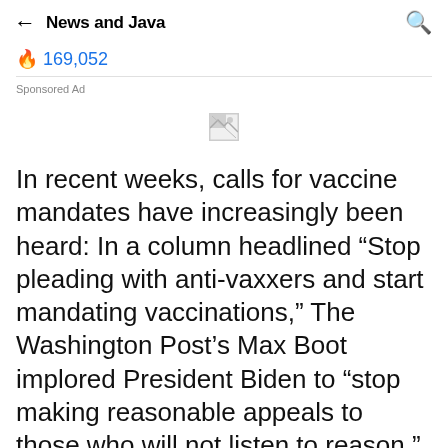News and Java
169,052
Sponsored Ad
[Figure (other): Broken/missing advertisement image placeholder]
In recent weeks, calls for vaccine mandates have increasingly been heard: In a column headlined “Stop pleading with anti-vaxxers and start mandating vaccinations,” The Washington Post’s Max Boot implored President Biden to “stop making reasonable appeals to those who will not listen to reason.”